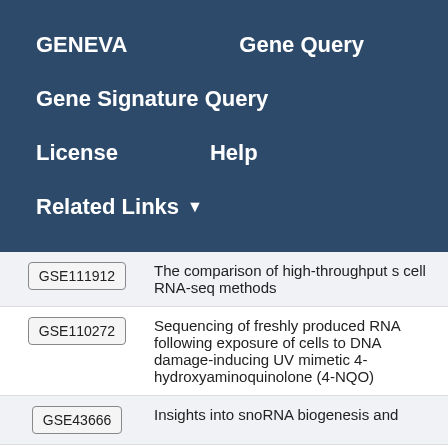GENEVA   Gene Query   Gene Signature Query   License   Help   Related Links
| ID | Description |
| --- | --- |
| GSE111912 | The comparison of high-throughput s cell RNA-seq methods |
| GSE110272 | Sequencing of freshly produced RNA following exposure of cells to DNA damage-inducing UV mimetic 4-hydroxyaminoquinolone (4-NQO) |
| GSE43666 | Insights into snoRNA biogenesis and |